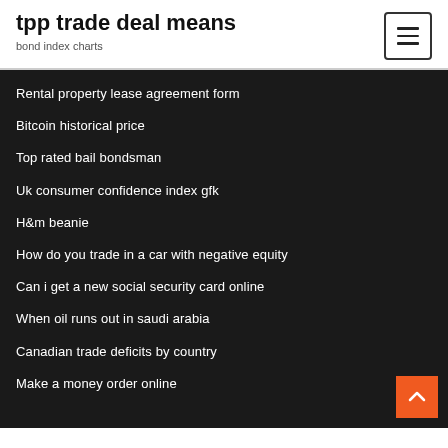tpp trade deal means
bond index charts
Rental property lease agreement form
Bitcoin historical price
Top rated bail bondsman
Uk consumer confidence index gfk
H&m beanie
How do you trade in a car with negative equity
Can i get a new social security card online
When oil runs out in saudi arabia
Canadian trade deficits by country
Make a money order online